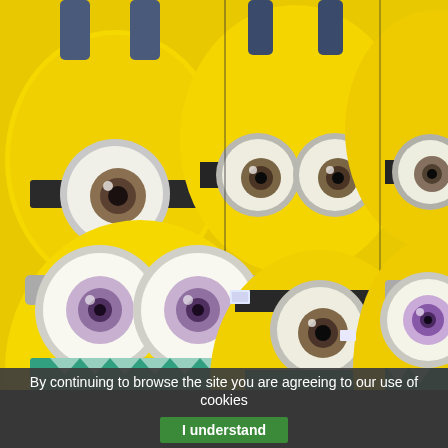[Figure (photo): A large collection of yellow Minion plush toys/stuffed animals packed tightly together, showing their characteristic goggles and overalls. Some have one eye, some have two eyes with purple irises. The toys have teal/green patterned shorts visible at the bottom.]
By continuing to browse the site you are agreeing to our use of cookies
I understand